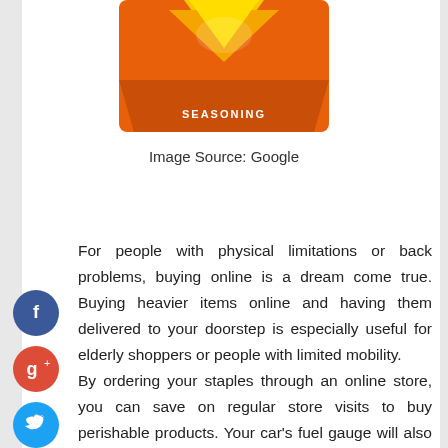[Figure (photo): Product package photo - seasoning product with orange packaging, partially cropped at top]
Image Source: Google
For people with physical limitations or back problems, buying online is a dream come true. Buying heavier items online and having them delivered to your doorstep is especially useful for elderly shoppers or people with limited mobility.
By ordering your staples through an online store, you can save on regular store visits to buy perishable products. Your car's fuel gauge will also benefit from